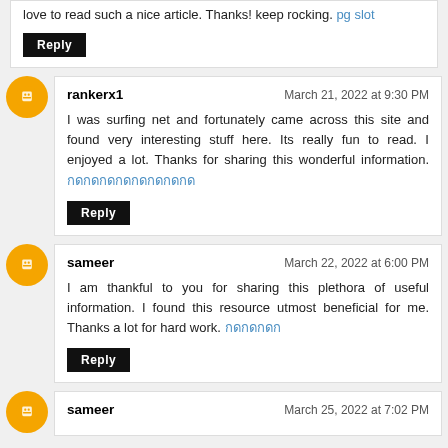love to read such a nice article. Thanks! keep rocking. pg slot
Reply
rankerx1 — March 21, 2022 at 9:30 PM
I was surfing net and fortunately came across this site and found very interesting stuff here. Its really fun to read. I enjoyed a lot. Thanks for sharing this wonderful information. [Thai link text]
Reply
sameer — March 22, 2022 at 6:00 PM
I am thankful to you for sharing this plethora of useful information. I found this resource utmost beneficial for me. Thanks a lot for hard work. [Thai link text]
Reply
sameer — March 25, 2022 at 7:02 PM